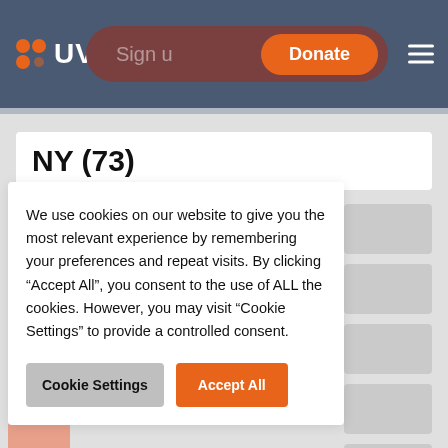UVC — Sign in | Donate
NY (73)
We use cookies on our website to give you the most relevant experience by remembering your preferences and repeat visits. By clicking “Accept All”, you consent to the use of ALL the cookies. However, you may visit "Cookie Settings" to provide a controlled consent.
Cookie Settings | Accept All